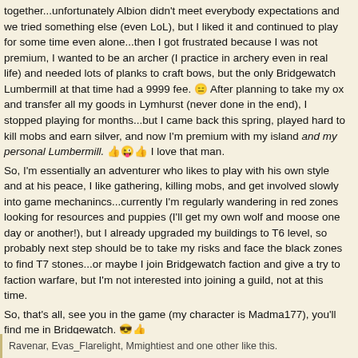together...unfortunately Albion didn't meet everybody expectations and we tried something else (even LoL), but I liked it and continued to play for some time even alone...then I got frustrated because I was not premium, I wanted to be an archer (I practice in archery even in real life) and needed lots of planks to craft bows, but the only Bridgewatch Lumbermill at that time had a 9999 fee. 😑 After planning to take my ox and transfer all my goods in Lymhurst (never done in the end), I stopped playing for months...but I came back this spring, played hard to kill mobs and earn silver, and now I'm premium with my island and my personal Lumbermill. 👍😜👍 I love that man.
So, I'm essentially an adventurer who likes to play with his own style and at his peace, I like gathering, killing mobs, and get involved slowly into game mechanincs...currently I'm regularly wandering in red zones looking for resources and puppies (I'll get my own wolf and moose one day or another!), but I already upgraded my buildings to T6 level, so probably next step should be to take my risks and face the black zones to find T7 stones...or maybe I join Bridgewatch faction and give a try to faction warfare, but I'm not interested into joining a guild, not at this time.
So, that's all, see you in the game (my character is Madma177), you'll find me in Bridgewatch. 😎👍
Ravenar, Evas_Flarelight, Mmightiest and one other like this.